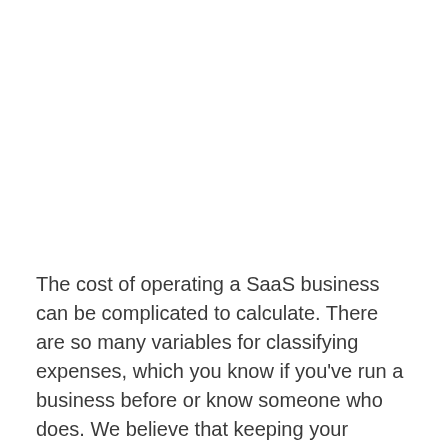The cost of operating a SaaS business can be complicated to calculate. There are so many variables for classifying expenses, which you know if you've run a business before or know someone who does. We believe that keeping your finances in order is one of the most crucial aspects of launching and maintaining successful software companies.